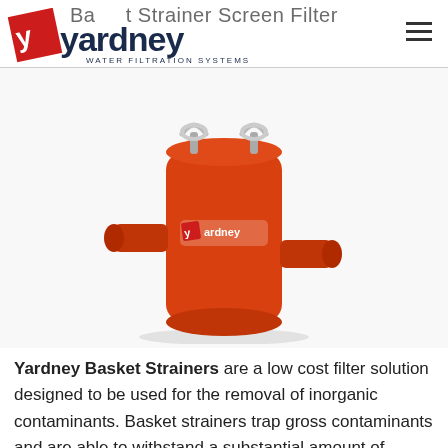Basket Strainer Screen Filter
[Figure (logo): Yardney Water Filtration Systems logo with red tilted square icon]
[Figure (photo): Red Yardney basket strainer filter unit with two metal lifting hooks on top, inlet and outlet ports on sides, branded with Yardney logo]
Yardney Basket Strainers are a low cost filter solution designed to be used for the removal of inorganic contaminants. Basket strainers trap gross contaminants and are able to withstand a substantial amount of